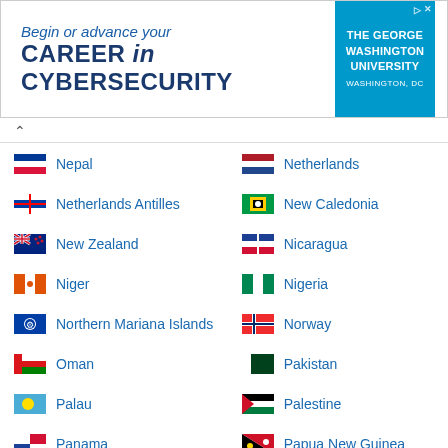[Figure (other): Advertisement banner for The George Washington University Cybersecurity program reading 'Begin or advance your CAREER in CYBERSECURITY' with university logo]
Nepal
Netherlands
Netherlands Antilles
New Caledonia
New Zealand
Nicaragua
Niger
Nigeria
Northern Mariana Islands
Norway
Oman
Pakistan
Palau
Palestine
Panama
Papua New Guinea
Paraguay
Peru